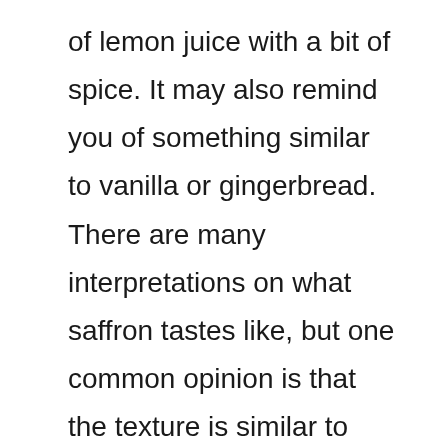of lemon juice with a bit of spice. It may also remind you of something similar to vanilla or gingerbread. There are many interpretations on what saffron tastes like, but one common opinion is that the texture is similar to something between a pine cone and sandpaper. Saffron is somewhat hard to describe. A study was done by a group of food chemists from the University of Minnesota to find out if saffron tasted better than turmeric. They